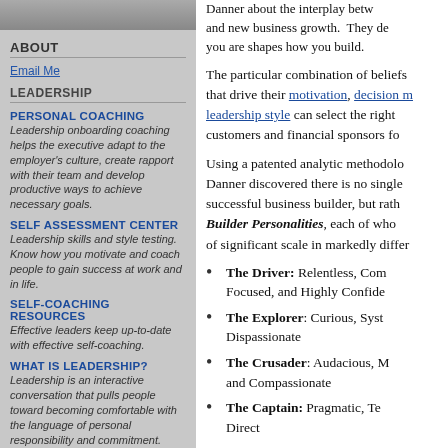[Figure (photo): Headshot photo of a person in the sidebar header area]
ABOUT
Email Me
LEADERSHIP
PERSONAL COACHING
Leadership onboarding coaching helps the executive adapt to the employer's culture, create rapport with their team and develop productive ways to achieve necessary goals.
SELF ASSESSMENT CENTER
Leadership skills and style testing. Know how you motivate and coach people to gain success at work and in life.
SELF-COACHING RESOURCES
Effective leaders keep up-to-date with effective self-coaching.
WHAT IS LEADERSHIP?
Leadership is an interactive conversation that pulls people toward becoming comfortable with the language of personal responsibility and commitment.
Danner about the interplay between and new business growth. They de you are shapes how you build.
The particular combination of beliefs that drive their motivation, decision making, leadership style can select the right customers and financial sponsors fo
Using a patented analytic methodology, Danner discovered there is no single successful business builder, but rather Builder Personalities, each of who of significant scale in markedly differ
The Driver: Relentless, Competitive, Focused, and Highly Confident
The Explorer: Curious, Systematic, Dispassionate
The Crusader: Audacious, Mission-driven, and Compassionate
The Captain: Pragmatic, Team-oriented, Direct
"BUILD FOR GROWTH" blends gu